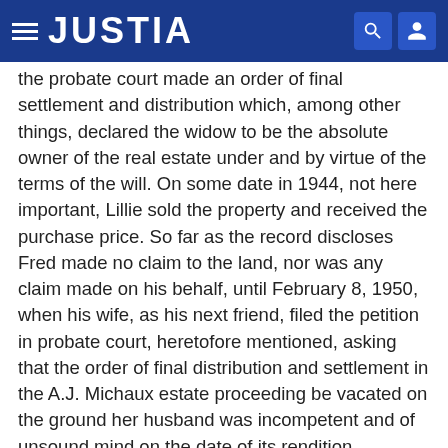JUSTIA
the probate court made an order of final settlement and distribution which, among other things, declared the widow to be the absolute owner of the real estate under and by virtue of the terms of the will. On some date in 1944, not here important, Lillie sold the property and received the purchase price. So far as the record discloses Fred made no claim to the land, nor was any claim made on his behalf, until February 8, 1950, when his wife, as his next friend, filed the petition in probate court, heretofore mentioned, asking that the order of final distribution and settlement in the A.J. Michaux estate proceeding be vacated on the ground her husband was incompetent and of unsound mind on the date of its rendition.
Lillie Michaux died during the latter part of the year 1949 and her estate was in process of administration at the time of the commencement of the proceeding to vacate...